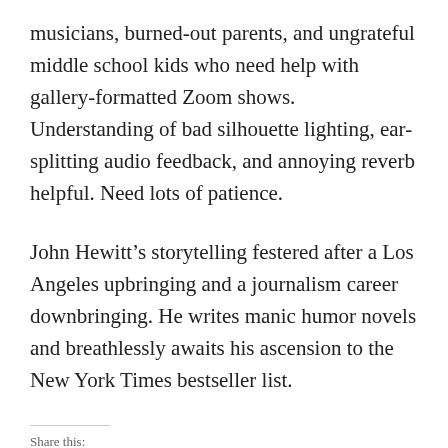musicians, burned-out parents, and ungrateful middle school kids who need help with gallery-formatted Zoom shows. Understanding of bad silhouette lighting, ear-splitting audio feedback, and annoying reverb helpful. Need lots of patience.
John Hewitt’s storytelling festered after a Los Angeles upbringing and a journalism career downbringing. He writes manic humor novels and breathlessly awaits his ascension to the New York Times bestseller list.
Share this: